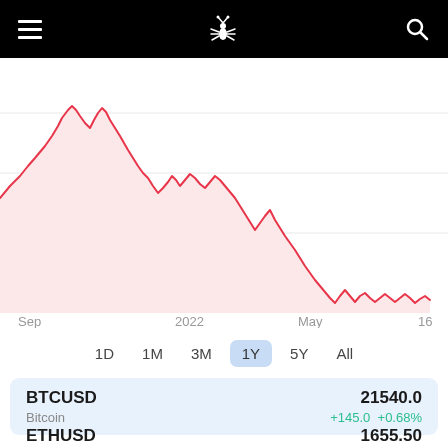Navigation header with hamburger menu, logo, and search icon
[Figure (continuous-plot): BTC/USD 1-year price chart showing a declining trend from approximately $47,000 in Sep 2021 to around $21,540 in mid-2022. The line is red/pink with a light pink fill beneath. X-axis labels: Sep, 2022, May, 16.]
Sep    2022    May    16
1D   1M   3M   1Y   5Y   All
BTCUSD  21540.0
Bitcoin  +145.0  +0.68%
ETHUSD  1655.50
Ethereum  +30.40  +1.87%